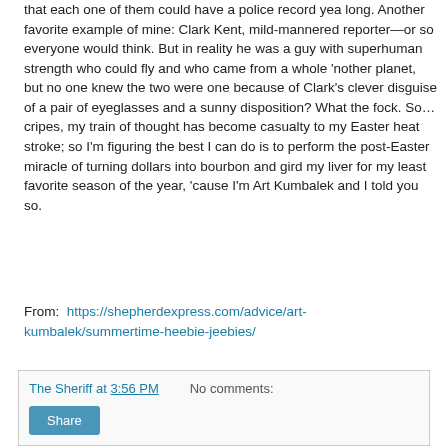that each one of them could have a police record yea long. Another favorite example of mine: Clark Kent, mild-mannered reporter—or so everyone would think. But in reality he was a guy with superhuman strength who could fly and who came from a whole 'nother planet, but no one knew the two were one because of Clark's clever disguise of a pair of eyeglasses and a sunny disposition? What the fock. So… cripes, my train of thought has become casualty to my Easter heat stroke; so I'm figuring the best I can do is to perform the post-Easter miracle of turning dollars into bourbon and gird my liver for my least favorite season of the year, 'cause I'm Art Kumbalek and I told you so.
From:  https://shepherdexpress.com/advice/art-kumbalek/summertime-heebie-jeebies/
The Sheriff at 3:56 PM   No comments:
Share